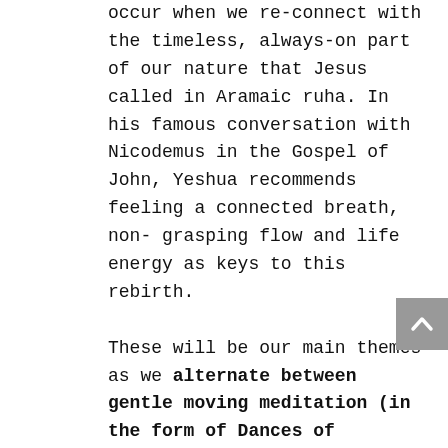occur when we re-connect with the timeless, always-on part of our nature that Jesus called in Aramaic ruha. In his famous conversation with Nicodemus in the Gospel of John, Yeshua recommends feeling a connected breath, non-grasping flow and life energy as keys to this rebirth.

These will be our main themes as we alternate between gentle moving meditation (in the form of Dances of Universal Peace) and sitting in silence to absorb the wordless teaching further into our hearts.

Opening to the divine in this way, we can then allow ourselves to become channels for blessing and healing, both for ourselves and others. Throughout the weekend, we will explore the